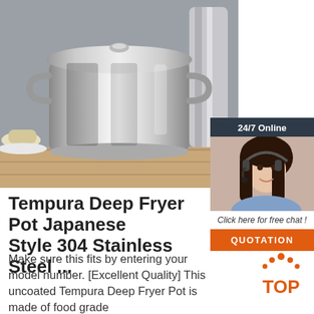[Figure (photo): Stainless steel deep fryer pot with lid and two handles on a wooden surface, with kitchen items in background]
[Figure (photo): 24/7 Online customer service chat widget showing a female agent wearing a headset, with text 'Click here for free chat!' and an orange QUOTATION button]
Tempura Deep Fryer Pot Japanese Style 304 Stainless Steel ...
Make sure this fits by entering your model number. [Excellent Quality] This uncoated Tempura Deep Fryer Pot is made of food grade
[Figure (logo): TOP badge logo with orange dots at top and orange text 'TOP']